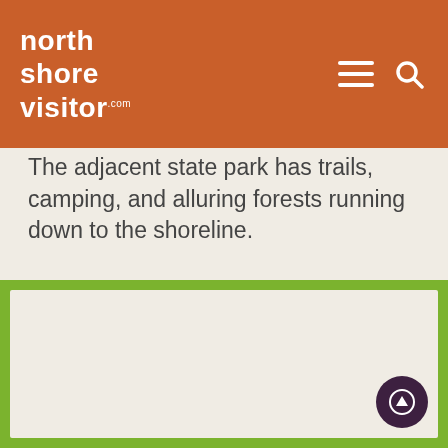north shore visitor .com
The adjacent state park has trails, camping, and alluring forests running down to the shoreline.
Learn More
Driving Directions
[Figure (map): Embedded map with green border frame and scroll-up circular button in bottom-right corner]